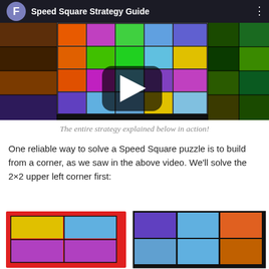[Figure (screenshot): YouTube-style video thumbnail showing 'Speed Square Strategy Guide' with a colorful tile puzzle grid and a play button in the center. Top bar has avatar circle with 'F', title text, and three-dot menu.]
The entire strategy explained below in action!
One reliable way to solve a Speed Square puzzle is to build from a corner, as we saw in the above video. We'll solve the 2×2 upper left corner first:
[Figure (screenshot): Bottom portion of a Speed Square puzzle grid showing two rows of colored tiles. The upper-left 2×2 region is highlighted with a red border. Colors include yellow, blue, purple, blue, blue, orange in visible cells.]